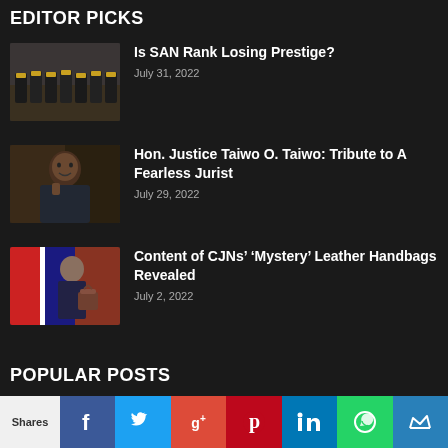EDITOR PICKS
[Figure (photo): Group of people in graduation gowns seated in a hall]
Is SAN Rank Losing Prestige?
July 31, 2022
[Figure (photo): Smiling man in traditional Nigerian attire, hand on chin]
Hon. Justice Taiwo O. Taiwo: Tribute to A Fearless Jurist
July 29, 2022
[Figure (photo): Man in suit holding leather handbag at a podium]
Content of CJNs’ ‘Mystery’ Leather Handbags Revealed
July 2, 2022
POPULAR POSTS
Shares